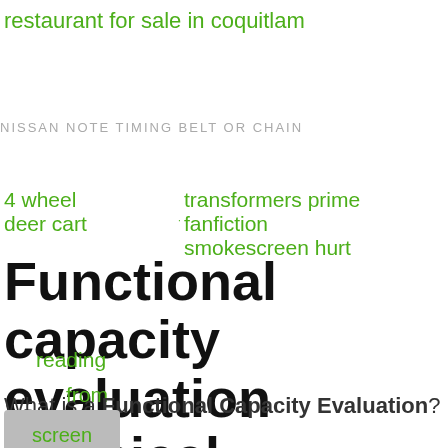restaurant for sale in coquitlam
NISSAN NOTE TIMING BELT OR CHAIN
4 wheel deer cart
transformers prime fanfiction smokescreen hurt
Functional capacity evaluation physical therapy
reading
from
What is a Functional Capacity Evaluation? A 4
screen